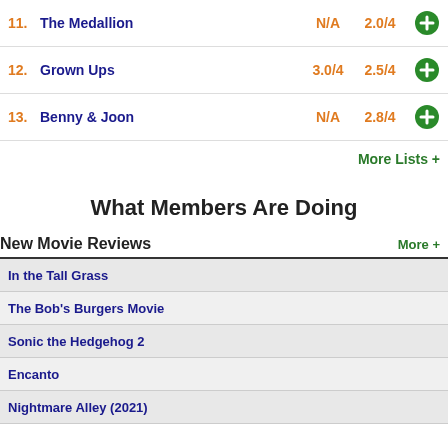11. The Medallion — N/A — 2.0/4
12. Grown Ups — 3.0/4 — 2.5/4
13. Benny & Joon — N/A — 2.8/4
More Lists +
What Members Are Doing
New Movie Reviews
In the Tall Grass
The Bob's Burgers Movie
Sonic the Hedgehog 2
Encanto
Nightmare Alley (2021)